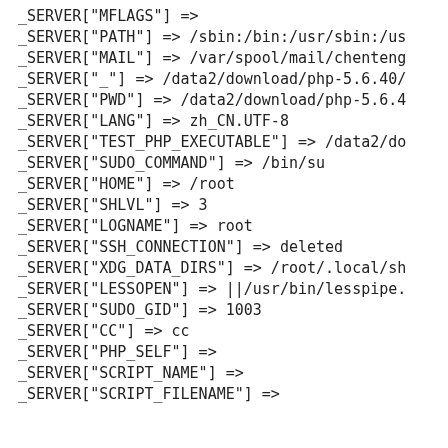_SERVER["MFLAGS"] =>
_SERVER["PATH"] => /sbin:/bin:/usr/sbin:/us
_SERVER["MAIL"] => /var/spool/mail/chenteng
_SERVER["_"] => /data2/download/php-5.6.40/
_SERVER["PWD"] => /data2/download/php-5.6.4
_SERVER["LANG"] => zh_CN.UTF-8
_SERVER["TEST_PHP_EXECUTABLE"] => /data2/do
_SERVER["SUDO_COMMAND"] => /bin/su
_SERVER["HOME"] => /root
_SERVER["SHLVL"] => 3
_SERVER["LOGNAME"] => root
_SERVER["SSH_CONNECTION"] => deleted
_SERVER["XDG_DATA_DIRS"] => /root/.local/sh
_SERVER["LESSOPEN"] => ||/usr/bin/lesspipe.
_SERVER["SUDO_GID"] => 1003
_SERVER["CC"] => cc
_SERVER["PHP_SELF"] =>
_SERVER["SCRIPT_NAME"] =>
_SERVER["SCRIPT_FILENAME"] =>